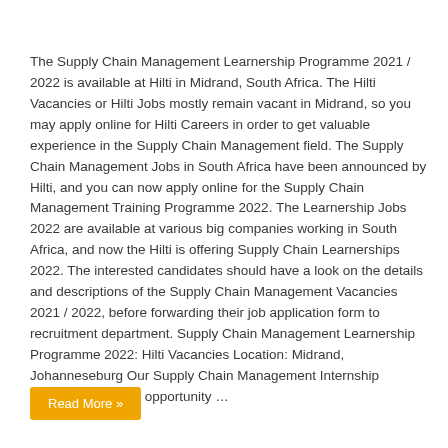The Supply Chain Management Learnership Programme 2021 / 2022 is available at Hilti in Midrand, South Africa. The Hilti Vacancies or Hilti Jobs mostly remain vacant in Midrand, so you may apply online for Hilti Careers in order to get valuable experience in the Supply Chain Management field. The Supply Chain Management Jobs in South Africa have been announced by Hilti, and you can now apply online for the Supply Chain Management Training Programme 2022. The Learnership Jobs 2022 are available at various big companies working in South Africa, and now the Hilti is offering Supply Chain Learnerships 2022. The interested candidates should have a look on the details and descriptions of the Supply Chain Management Vacancies 2021 / 2022, before forwarding their job application form to recruitment department. Supply Chain Management Learnership Programme 2022: Hilti Vacancies Location: Midrand, Johanneseburg Our Supply Chain Management Internship Program is a great opportunity …
Read More »